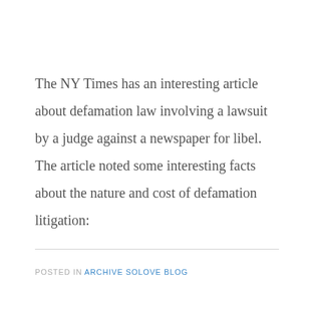The NY Times has an interesting article about defamation law involving a lawsuit by a judge against a newspaper for libel. The article noted some interesting facts about the nature and cost of defamation litigation:
POSTED IN ARCHIVE SOLOVE BLOG